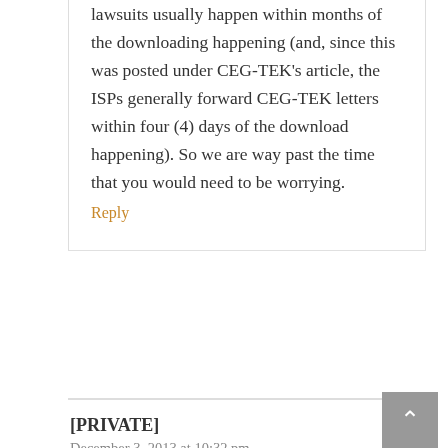lawsuits usually happen within months of the downloading happening (and, since this was posted under CEG-TEK's article, the ISPs generally forward CEG-TEK letters within four (4) days of the download happening). So we are way past the time that you would need to be worrying.
Reply
[PRIVATE]
December 3, 2013 at 10:32 pm
I guess I left some info out from my original post. I NEVER checked my comcast email